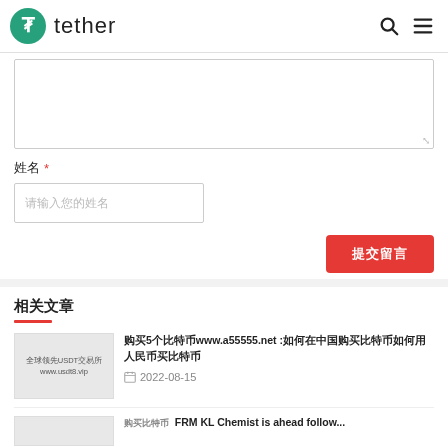tether
（form textarea area）
姓名 *
请输入您的姓名
提交留言
相关文章
购买5个比特币www.a55555.net️ :如何在中国购买比特币如何用人民币买比特币
2022-08-15
FRM KL Chemist is ahead follow...